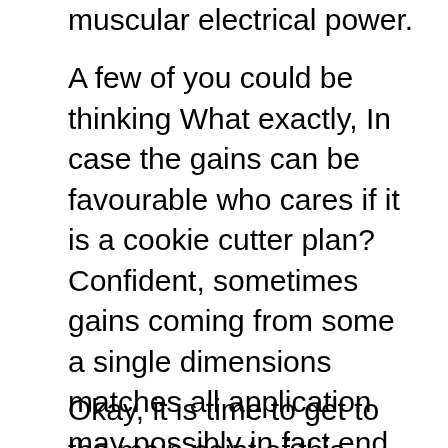muscular electrical power.
A few of you could be thinking What exactly, In case the gains can be favourable who cares if it is a cookie cutter plan? Confident, sometimes gains coming from some a single dimensions matches all application may possibly in fact end up becoming rather good, but only in situations the place this cookie cutter training system out of sheer excellent fortune will come to concentrate on just what exactly you has to work on. What’s extra, it will not alter The reality that the Quickest outcomes will constantly occur via a application supposed for the person.
Okay, it is time to get to the main point of this information. Regardless of everything